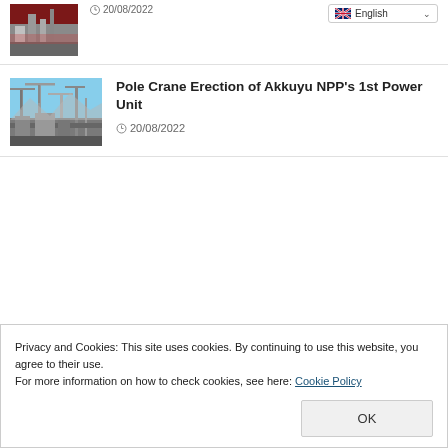[Figure (photo): Thumbnail photo of a construction or industrial scene, partially cropped at top]
20/08/2022
[Figure (screenshot): English language selector dropdown with UK flag]
[Figure (photo): Photo of Akkuyu NPP construction site showing cranes and construction equipment]
Pole Crane Erection of Akkuyu NPP's 1st Power Unit
20/08/2022
Privacy and Cookies: This site uses cookies. By continuing to use this website, you agree to their use.
For more information on how to check cookies, see here: Cookie Policy